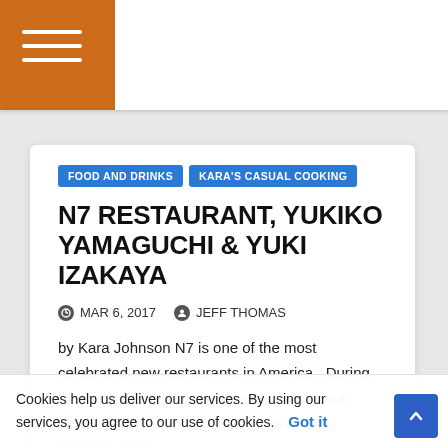Navigation bar with hamburger menu
FOOD AND DRINKS
KARA'S CASUAL COOKING
N7 RESTAURANT, YUKIKO YAMAGUCHI & YUKI IZAKAYA
MAR 6, 2017   JEFF THOMAS
by Kara Johnson N7 is one of the most celebrated new restaurants in America.  During its brief existence, it has been written about extensively and continues to receive rave reviews.  Bon...
Cookies help us deliver our services. By using our services, you agree to our use of cookies.   Got it